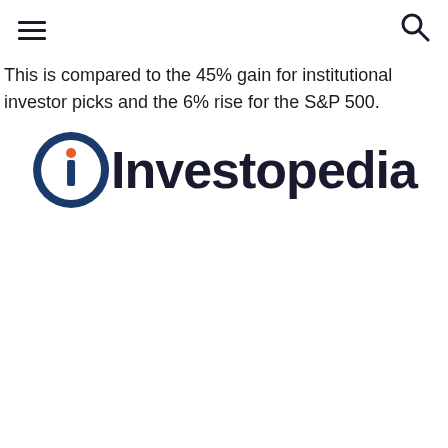[Navigation bar with hamburger menu and search icon]
This is compared to the 45% gain for institutional investor picks and the 6% rise for the S&P 500.
[Figure (logo): Investopedia logo — circular icon with stylized 'i' in blue and orange dot, followed by bold dark text 'Investopedia']